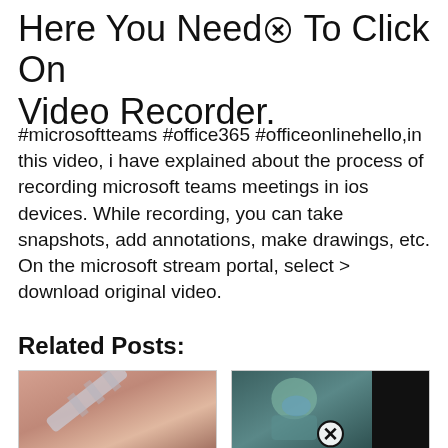Here You Need To Click On Video Recorder.
#microsoftteams #office365 #officeonlinehello,in this video, i have explained about the process of recording microsoft teams meetings in ios devices. While recording, you can take snapshots, add annotations, make drawings, etc. On the microsoft stream portal, select > download original video.
Related Posts:
[Figure (photo): Close-up photo of a syringe/needle against a pinkish-beige background]
[Figure (photo): Medical video screenshot showing a patient with oxygen mask and medical equipment, with a close/play button overlay, partially darkened on right side]